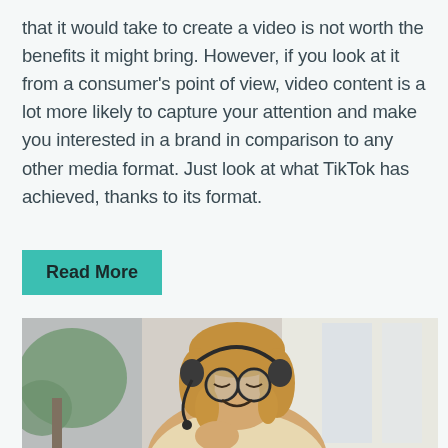that it would take to create a video is not worth the benefits it might bring. However, if you look at it from a consumer's point of view, video content is a lot more likely to capture your attention and make you interested in a brand in comparison to any other media format. Just look at what TikTok has achieved, thanks to its format.
Read More
[Figure (photo): A smiling young woman with glasses and a headset microphone, sitting at a desk in a bright office environment with plants visible in the background.]